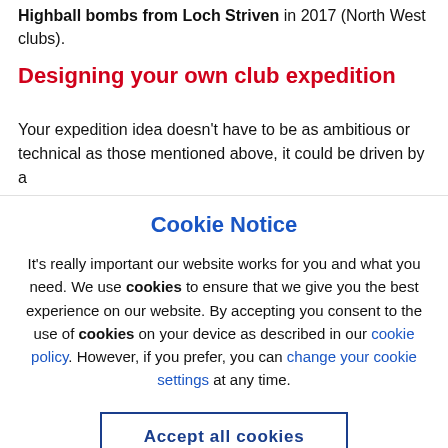Highball bombs from Loch Striven in 2017 (North West clubs).
Designing your own club expedition
Your expedition idea doesn’t have to be as ambitious or technical as those mentioned above, it could be driven by a
Cookie Notice
It’s really important our website works for you and what you need. We use cookies to ensure that we give you the best experience on our website. By accepting you consent to the use of cookies on your device as described in our cookie policy. However, if you prefer, you can change your cookie settings at any time.
Accept all cookies